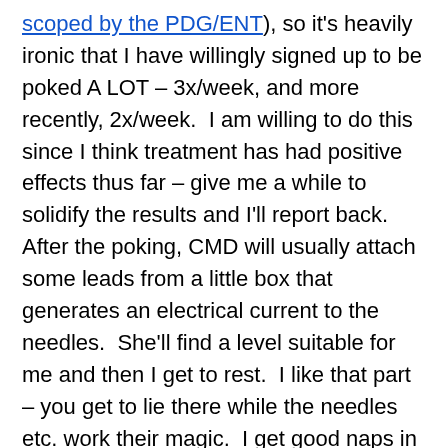scoped by the PDG/ENT), so it's heavily ironic that I have willingly signed up to be poked A LOT – 3x/week, and more recently, 2x/week.  I am willing to do this since I think treatment has had positive effects thus far – give me a while to solidify the results and I'll report back.  After the poking, CMD will usually attach some leads from a little box that generates an electrical current to the needles.  She'll find a level suitable for me and then I get to rest.  I like that part – you get to lie there while the needles etc. work their magic.  I get good naps in – that's what I mean when I say I'm usually able to forget about the needles.
Just so I'm aware, though, CMD will remind me if I have needles in my head/arm etc. so I'll be careful not to fall into such a deep sleep that I touch them accidentally. (Side note:  Your experience with acupuncture might be more of a needles-only proposition.  Since I have quite a